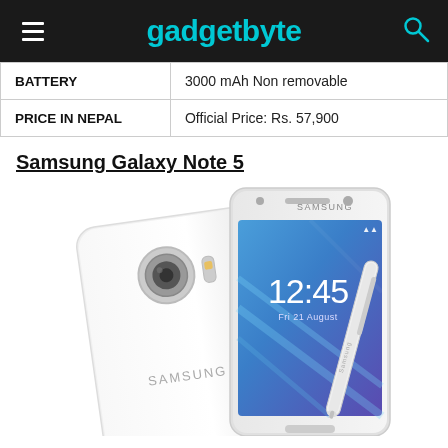gadgetbyte
| BATTERY | 3000 mAh Non removable |
| PRICE IN NEPAL | Official Price: Rs. 57,900 |
Samsung Galaxy Note 5
[Figure (photo): Samsung Galaxy Note 5 product image showing the back and front of the white smartphone with S Pen stylus]